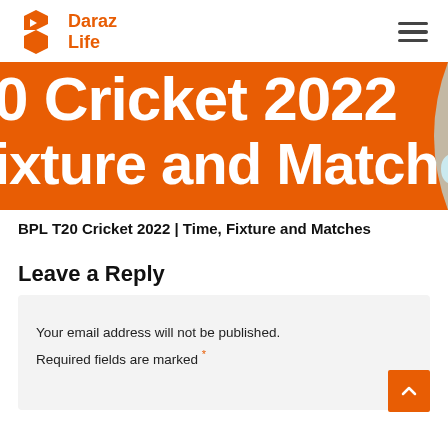Daraz Life
[Figure (illustration): Banner image with orange background showing partial text: 'O Cricket 2022' on first line and 'ixture and Matches' on second line, with a light blue curved element on the right edge.]
BPL T20 Cricket 2022 | Time, Fixture and Matches
Leave a Reply
Your email address will not be published. Required fields are marked *